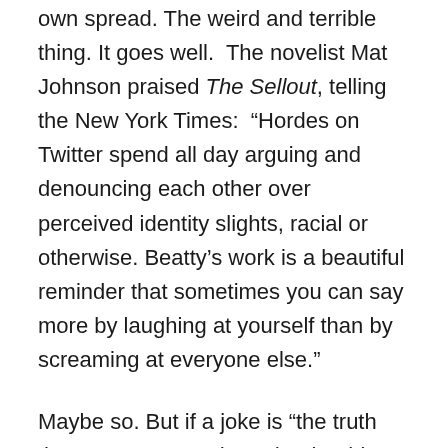own spread. The weird and terrible thing. It goes well.  The novelist Mat Johnson praised The Sellout, telling the New York Times:  “Hordes on Twitter spend all day arguing and denouncing each other over perceived identity slights, racial or otherwise. Beatty’s work is a beautiful reminder that sometimes you can say more by laughing at yourself than by screaming at everyone else.”
Maybe so. But if a joke is “the truth that’s gone out and got drunk,” this brilliant novel makes a case for Carrie Nation, looking for an ax to sober the place up.